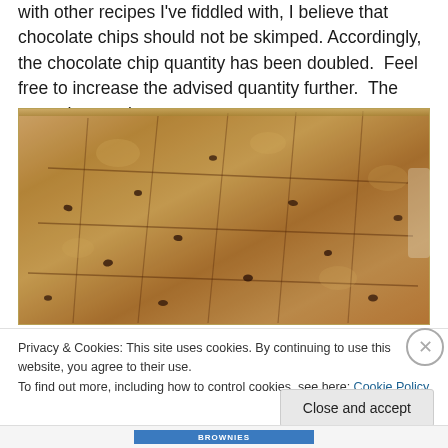with other recipes I've fiddled with, I believe that chocolate chips should not be skimped. Accordingly, the chocolate chip quantity has been doubled.  Feel free to increase the advised quantity further.  The more the merrier.
[Figure (photo): Overhead close-up photograph of chocolate chip cookie bars baked in a rectangular metal baking pan, scored into squares, on a granite countertop.]
Privacy & Cookies: This site uses cookies. By continuing to use this website, you agree to their use.
To find out more, including how to control cookies, see here: Cookie Policy
Close and accept